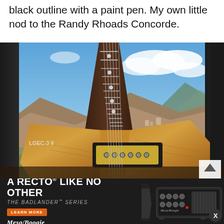black outline with a paint pen. My own little nod to the Randy Rhoads Concorde.
[Figure (photo): Close-up photo of a custom electric guitar with a Flying V-like body shape, natural wood finish with golden-hardware humbucker pickup, dark fretboard neck with dot inlays, leaning against a window with mountain landscape and blue sky in the background.]
[Figure (infographic): Mesa/Boogie advertisement banner: dark background with text 'A RECTO® LIKE NO OTHER', subtitle 'THE BADLANDER™ SERIES', orange 'LEARN MORE' button, Mesa/Boogie logo, and image of a guitar amplifier head unit on the right side.]